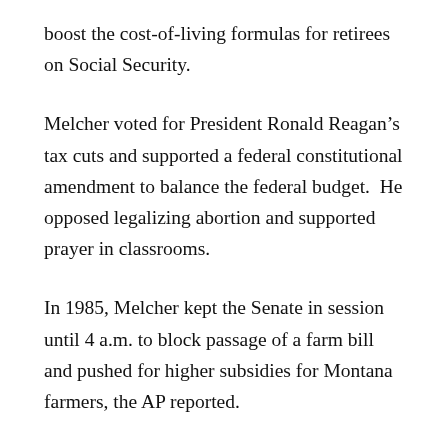boost the cost-of-living formulas for retirees on Social Security.
Melcher voted for President Ronald Reagan’s tax cuts and supported a federal constitutional amendment to balance the federal budget.  He opposed legalizing abortion and supported prayer in classrooms.
In 1985, Melcher kept the Senate in session until 4 a.m. to block passage of a farm bill and pushed for higher subsidies for Montana farmers, the AP reported.
Ironically, after Melcher lost for re-election in 1988,